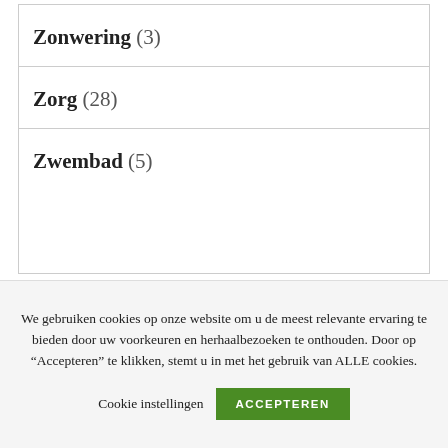Zonwering (3)
Zorg (28)
Zwembad (5)
We gebruiken cookies op onze website om u de meest relevante ervaring te bieden door uw voorkeuren en herhaalbezoeken te onthouden. Door op “Accepteren” te klikken, stemt u in met het gebruik van ALLE cookies.
Cookie instellingen
ACCEPTEREN